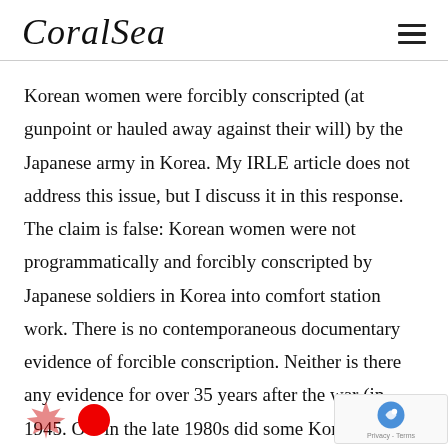CoralSea
Korean women were forcibly conscripted (at gunpoint or hauled away against their will) by the Japanese army in Korea. My IRLE article does not address this issue, but I discuss it in this response. The claim is false: Korean women were not programmatically and forcibly conscripted by Japanese soldiers in Korea into comfort station work. There is no contemporaneous documentary evidence of forcible conscription. Neither is there any evidence for over 35 years after the war (in 1945. O... in the late 1980s did some Kore...